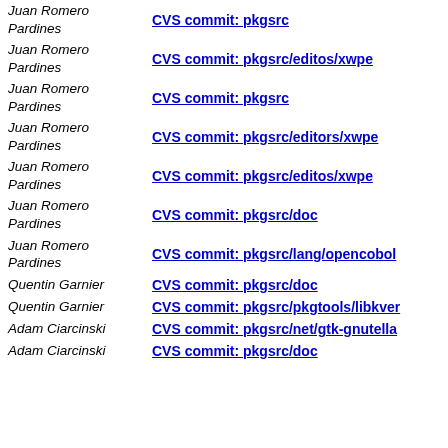Juan Romero Pardines | CVS commit: pkgsrc
Juan Romero Pardines | CVS commit: pkgsrc/editos/xwpe
Juan Romero Pardines | CVS commit: pkgsrc
Juan Romero Pardines | CVS commit: pkgsrc/editors/xwpe
Juan Romero Pardines | CVS commit: pkgsrc/editos/xwpe
Juan Romero Pardines | CVS commit: pkgsrc/doc
Juan Romero Pardines | CVS commit: pkgsrc/lang/opencobol
Quentin Garnier | CVS commit: pkgsrc/doc
Quentin Garnier | CVS commit: pkgsrc/pkgtools/libkver
Adam Ciarcinski | CVS commit: pkgsrc/net/gtk-gnutella
Adam Ciarcinski | CVS commit: pkgsrc/doc